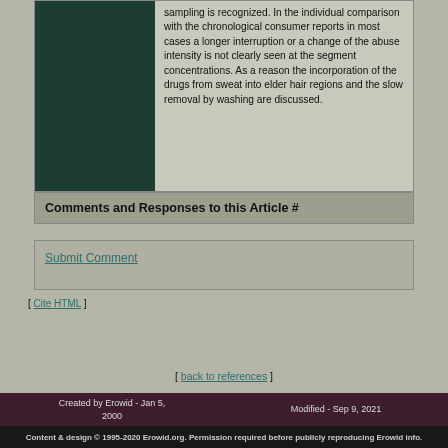sampling is recognized. In the individual comparison with the chronological consumer reports in most cases a longer interruption or a change of the abuse intensity is not clearly seen at the segment concentrations. As a reason the incorporation of the drugs from sweat into elder hair regions and the slow removal by washing are discussed.
Comments and Responses to this Article #
Submit Comment
[ Cite HTML ]
[ back to references ]
Created by Erowid - Jan 5, 2000   Modified - Sep 9, 2021
Content & design © 1995-2020 Erowid.org. Permission required before publicly reproducing Erowid info.